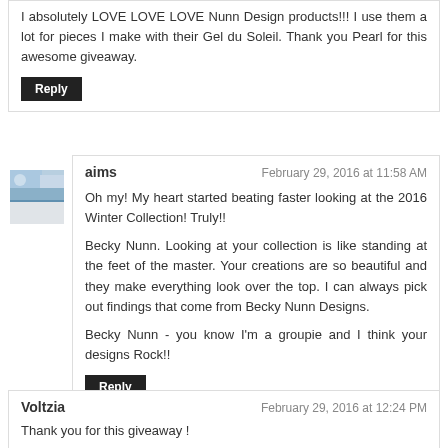I absolutely LOVE LOVE LOVE Nunn Design products!!! I use them a lot for pieces I make with their Gel du Soleil. Thank you Pearl for this awesome giveaway.
Reply
aims
February 29, 2016 at 11:58 AM
Oh my! My heart started beating faster looking at the 2016 Winter Collection! Truly!!
Becky Nunn. Looking at your collection is like standing at the feet of the master. Your creations are so beautiful and they make everything look over the top. I can always pick out findings that come from Becky Nunn Designs.
Becky Nunn - you know I'm a groupie and I think your designs Rock!!
Reply
Voltzia
February 29, 2016 at 12:24 PM
Thank you for this giveaway !